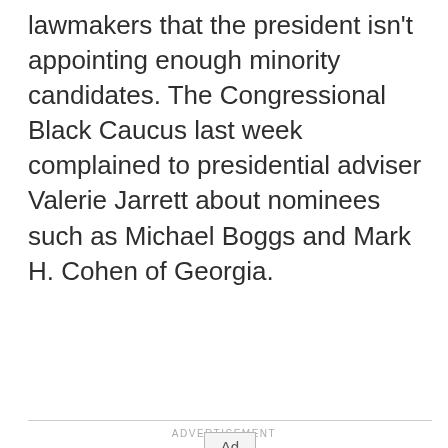lawmakers that the president isn't appointing enough minority candidates. The Congressional Black Caucus last week complained to presidential adviser Valerie Jarrett about nominees such as Michael Boggs and Mark H. Cohen of Georgia.
ADVERTISEMENT
[Figure (other): Advertisement placeholder box with an 'Ad' button label in the center]